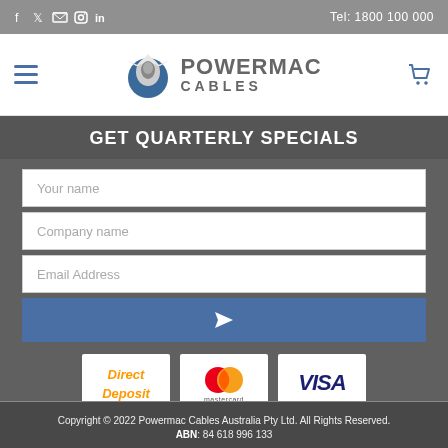Tel: 1800 100 000
[Figure (logo): Powermac Cables logo with eagle and text POWERMAC CABLES]
GET QUARTERLY SPECIALS
Your name
Company name
Email Address
[Figure (infographic): Direct Deposit, Mastercard, and Visa payment method icons]
Copyright © 2022 Powermac Cables Australia Pty Ltd. All Rights Reserved. ABN: 84 618 996 133